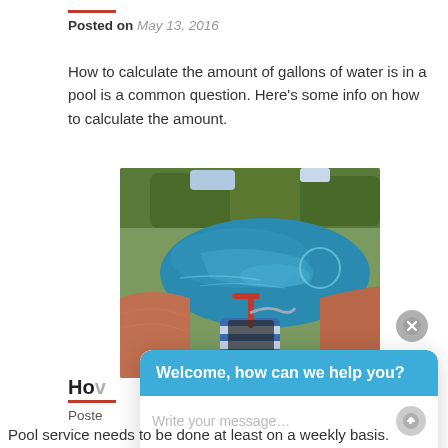Posted on May 13, 2016
How to calculate the amount of gallons of water is in a pool is a common question. Here's some info on how to calculate the amount.
[Figure (photo): Outdoor swimming pool with a pool cleaning robot/vacuum on the pool deck. Green trees in background, terracotta-colored stone decking around the pool.]
[Figure (screenshot): Chat widget overlay showing 'Welcome, how can we help you?' in blue header, with a message input field 'Write your message...' and send button below.]
Ho
Poste
Pool service needs to be done at least on a weekly basis.